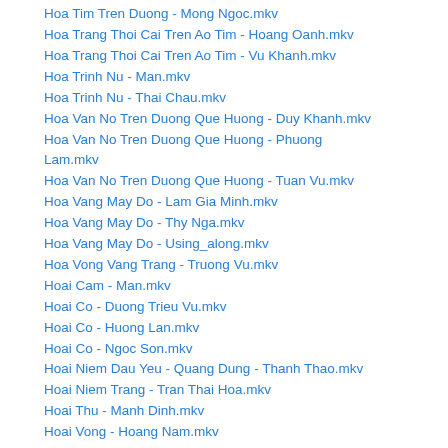Hoa Tim Tren Duong - Mong Ngoc.mkv
Hoa Trang Thoi Cai Tren Ao Tim - Hoang Oanh.mkv
Hoa Trang Thoi Cai Tren Ao Tim - Vu Khanh.mkv
Hoa Trinh Nu - Man.mkv
Hoa Trinh Nu - Thai Chau.mkv
Hoa Van No Tren Duong Que Huong - Duy Khanh.mkv
Hoa Van No Tren Duong Que Huong - Phuong Lam.mkv
Hoa Van No Tren Duong Que Huong - Tuan Vu.mkv
Hoa Vang May Do - Lam Gia Minh.mkv
Hoa Vang May Do - Thy Nga.mkv
Hoa Vang May Do - Using_along.mkv
Hoa Vong Vang Trang - Truong Vu.mkv
Hoai Cam - Man.mkv
Hoai Co - Duong Trieu Vu.mkv
Hoai Co - Huong Lan.mkv
Hoai Co - Ngoc Son.mkv
Hoai Niem Dau Yeu - Quang Dung - Thanh Thao.mkv
Hoai Niem Trang - Tran Thai Hoa.mkv
Hoai Thu - Manh Dinh.mkv
Hoai Vong - Hoang Nam.mkv
Hoang Hon Mau Tim - Doan Thy.mkv
Hoang Hon Mau Tim - Hoang Thien ...